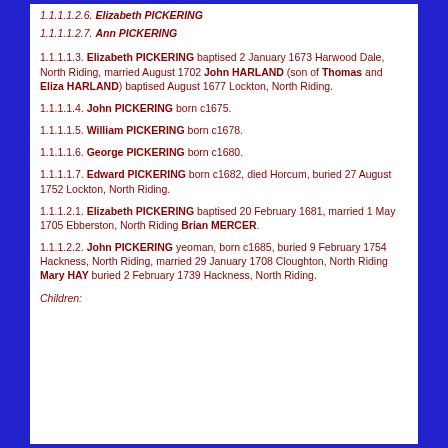1.1.1.1.2.6. Elizabeth PICKERING
1.1.1.1.2.7. Ann PICKERING
1.1.1.1.3. Elizabeth PICKERING baptised 2 January 1673 Harwood Dale, North Riding, married August 1702 John HARLAND (son of Thomas and Eliza HARLAND) baptised August 1677 Lockton, North Riding.
1.1.1.1.4. John PICKERING born c1675.
1.1.1.1.5. William PICKERING born c1678.
1.1.1.1.6. George PICKERING born c1680.
1.1.1.1.7. Edward PICKERING born c1682, died Horcum, buried 27 August 1752 Lockton, North Riding.
1.1.1.2.1. Elizabeth PICKERING baptised 20 February 1681, married 1 May 1705 Ebberston, North Riding Brian MERCER.
1.1.1.2.2. John PICKERING yeoman, born c1685, buried 9 February 1754 Hackness, North Riding, married 29 January 1708 Cloughton, North Riding Mary HAY buried 2 February 1739 Hackness, North Riding.
Children: